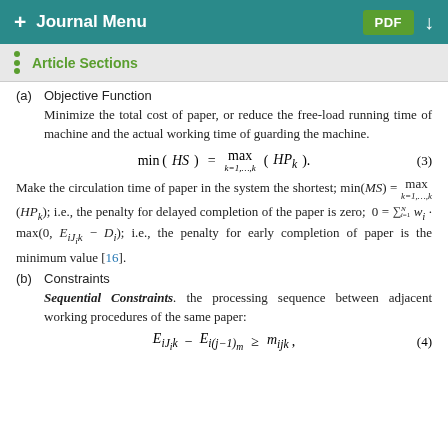+ Journal Menu   PDF ↓
Article Sections
(a) Objective Function
Minimize the total cost of paper, or reduce the free-load running time of machine and the actual working time of guarding the machine.
Make the circulation time of paper in the system the shortest; min(MS) = max_{k=1,...,k} (HP_k); i.e., the penalty for delayed completion of the paper is zero; 0 = \sum_{i=1}^{N} w_i · max(0, E_{iJ_ik} - D_i); i.e., the penalty for early completion of paper is the minimum value [16].
(b) Constraints
Sequential Constraints. the processing sequence between adjacent working procedures of the same paper: